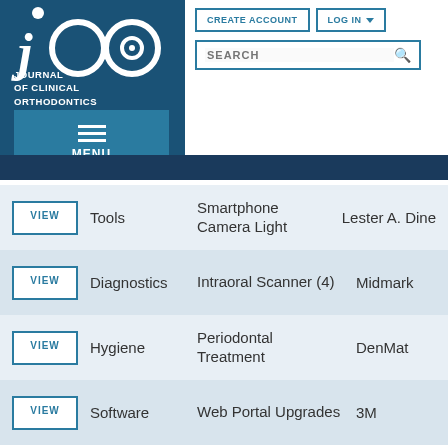[Figure (logo): JCO - Journal of Clinical Orthodontics logo with teal/blue background and white text and circles]
[Figure (screenshot): CREATE ACCOUNT and LOG IN buttons]
[Figure (screenshot): SEARCH bar with magnifying glass icon]
[Figure (screenshot): MENU hamburger button]
|  | Category | Product | Maker |
| --- | --- | --- | --- |
| VIEW | Tools | Smartphone Camera Light | Lester A. Dine |
| VIEW | Diagnostics | Intraoral Scanner (4) | Midmark |
| VIEW | Hygiene | Periodontal Treatment | DenMat |
| VIEW | Software | Web Portal Upgrades | 3M |